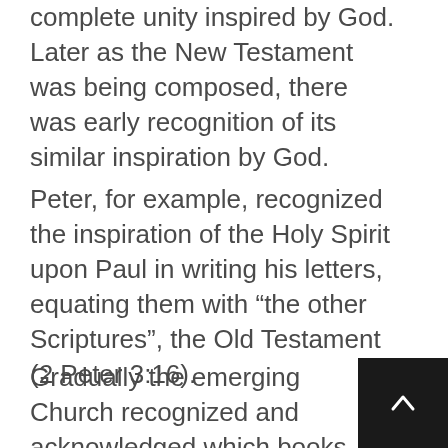complete unity inspired by God. Later as the New Testament was being composed, there was early recognition of its similar inspiration by God.
Peter, for example, recognized the inspiration of the Holy Spirit upon Paul in writing his letters, equating them with “the other Scriptures”, the Old Testament (2 Peter 3:16).
Gradually the emerging Church recognized and acknowledged which books were inspired by the Holy Spirit and which ones were